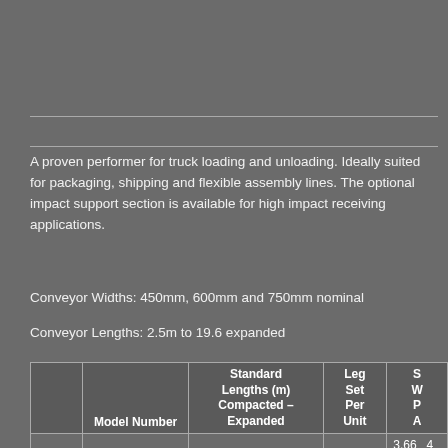A proven performer for truck loading and unloading. Ideally suited for packaging, shipping and flexible assembly lines. The optional impact support section is available for high impact receiving applications.
Conveyor Widths: 450mm, 600mm and 750mm nominal
Conveyor Lengths: 2.5m to 19.6 expanded
|  | Model Number | Standard Lengths (m) Compacted – Expanded | Leg Set Per Unit | S W P A |
| --- | --- | --- | --- | --- |
| BE300 |  | 18 | 12 | 0.85 | 3.66 | 4 | 7 |